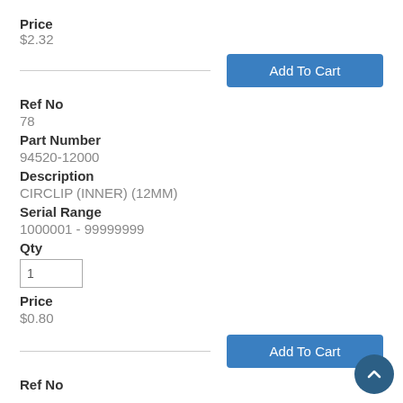Price
$2.32
Add To Cart
Ref No
78
Part Number
94520-12000
Description
CIRCLIP (INNER) (12MM)
Serial Range
1000001 - 99999999
Qty
Price
$0.80
Add To Cart
Ref No